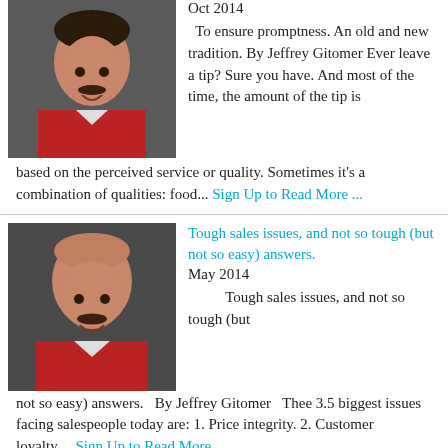[Figure (photo): Man in red shirt with mustache, smiling]
Oct 2014

To ensure promptness. An old and new tradition. By Jeffrey Gitomer Ever leave a tip? Sure you have. And most of the time, the amount of the tip is based on the perceived service or quality. Sometimes it's a combination of qualities: food... Sign Up to Read More ...
[Figure (photo): Bald man in red shirt with mustache, smiling]
Tough sales issues, and not so tough (but not so easy) answers.

May 2014

Tough sales issues, and not so tough (but not so easy) answers. By Jeffrey Gitomer Thee 3.5 biggest issues facing salespeople today are: 1. Price integrity. 2. Customer loyalty.... Sign Up to Read More ...
[Figure (photo): Older man in suit with tie, smiling]
How to Develop a Powerful B2B Value Proposition By Ian Dainty

May 2014

How to Develop a Powerful B2B Value Proposition By Ian Dainty. Developing a powerful